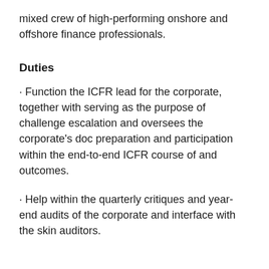mixed crew of high-performing onshore and offshore finance professionals.
Duties
· Function the ICFR lead for the corporate, together with serving as the purpose of challenge escalation and oversees the corporate's doc preparation and participation within the end-to-end ICFR course of and outcomes.
· Help within the quarterly critiques and year-end audits of the corporate and interface with the skin auditors.